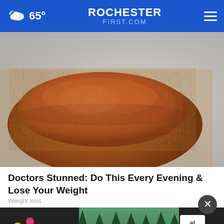65° ROCHESTER FIRST.COM
[Figure (photo): Close-up photo of a mound of brown cinnamon powder on a round wooden spoon/board against a gray stone surface]
Doctors Stunned: Do This Every Evening & Lose Your Weight
Weight loss
[Figure (infographic): Advertisement banner: DISCOVERtheFOREST.org with Ad Council and US Forest Service logos, colorful forest imagery]